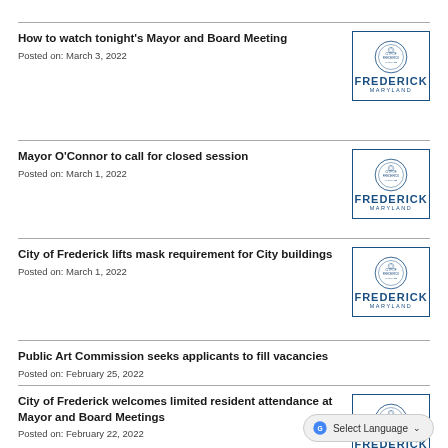How to watch tonight's Mayor and Board Meeting
Posted on: March 3, 2022
Mayor O'Connor to call for closed session
Posted on: March 1, 2022
City of Frederick lifts mask requirement for City buildings
Posted on: March 1, 2022
Public Art Commission seeks applicants to fill vacancies
Posted on: February 25, 2022
City of Frederick welcomes limited resident attendance at Mayor and Board Meetings
Posted on: February 22, 2022